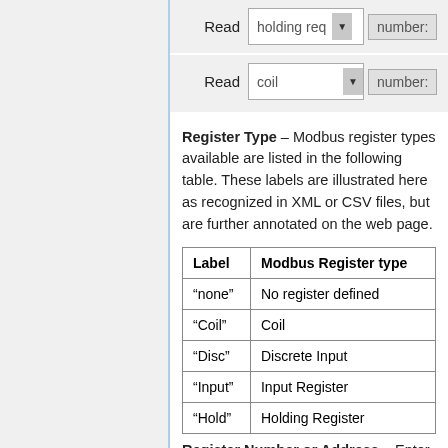[Figure (screenshot): UI mockup row showing Read dropdown set to 'holding req' with a 'number:' field]
[Figure (screenshot): UI mockup row showing Read dropdown set to 'coil' with a 'number:' field]
Register Type – Modbus register types available are listed in the following table. These labels are illustrated here as recognized in XML or CSV files, but are further annotated on the web page.
| Label | Modbus Register type |
| --- | --- |
| “none” | No register defined |
| “Coil” | Coil |
| “Disc” | Discrete Input |
| “Input” | Input Register |
| “Hold” | Holding Register |
Register Number or Address – Enter